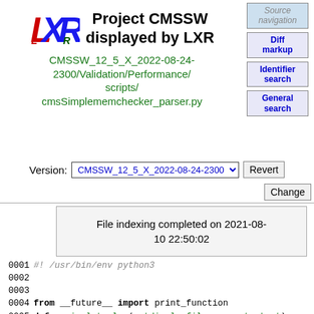Project CMSSW displayed by LXR
CMSSW_12_5_X_2022-08-24-2300/Validation/Performance/scripts/cmsSimplememchecker_parser.py
Source navigation
Diff markup
Identifier search
General search
Version: CMSSW_12_5_X_2022-08-24-2300 ▾  Revert  Change
File indexing completed on 2021-08-10 22:50:02
0001 #! /usr/bin/env python3
0002
0003
0004 from __future__ import print_function
0005 def manipulate_log(outdir,logfile_name,startevt):
0006